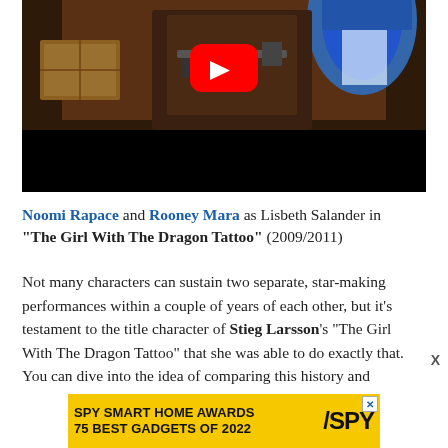[Figure (screenshot): YouTube video thumbnail showing a dark scene with a figure and props, with a red YouTube play button overlay. Lower portion is black letterbox.]
Noomi Rapace and Rooney Mara as Lisbeth Salander in "The Girl With The Dragon Tattoo" (2009/2011)
Not many characters can sustain two separate, star-making performances within a couple of years of each other, but it’s testament to the title character of Stieg Larsson’s “The Girl With The Dragon Tattoo” that she was able to do exactly that. You can dive into the idea of comparing this history and
[Figure (screenshot): Advertisement banner: SPY SMART HOME AWARDS 75 BEST GADGETS OF 2022 with SPY logo on yellow background]